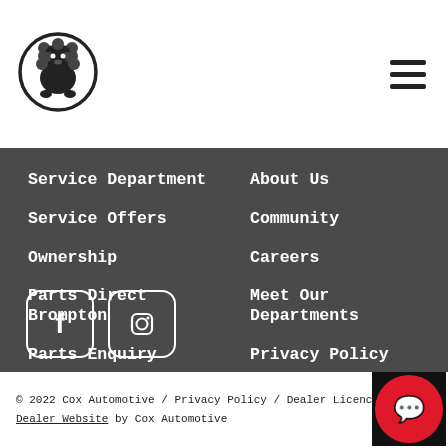[Figure (logo): Cox Automotive circular lion logo in black and white]
Service Department
Service Offers
Ownership
Parts Direct Brompton
Parts Enquiry
About Us
Community
Careers
Meet Our Departments
Privacy Policy
[Figure (logo): Facebook icon in white rounded square]
[Figure (logo): Instagram icon in white rounded square]
© 2022 Cox Automotive / Privacy Policy / Dealer Licence: 108
Dealer Website by Cox Automotive